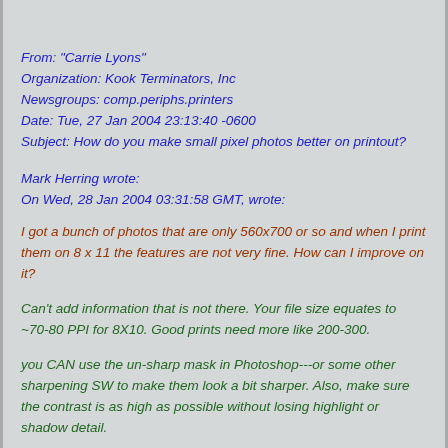From: "Carrie Lyons"
Organization: Kook Terminators, Inc
Newsgroups: comp.periphs.printers
Date: Tue, 27 Jan 2004 23:13:40 -0600
Subject: How do you make small pixel photos better on printout?
Mark Herring wrote:
On Wed, 28 Jan 2004 03:31:58 GMT, wrote:
I got a bunch of photos that are only 560x700 or so and when I print them on 8 x 11 the features are not very fine. How can I improve on it?
Can't add information that is not there. Your file size equates to ~70-80 PPI for 8X10. Good prints need more like 200-300.
you CAN use the un-sharp mask in Photoshop---or some other sharpening SW to make them look a bit sharper. Also, make sure the contrast is as high as possible without losing highlight or shadow detail.